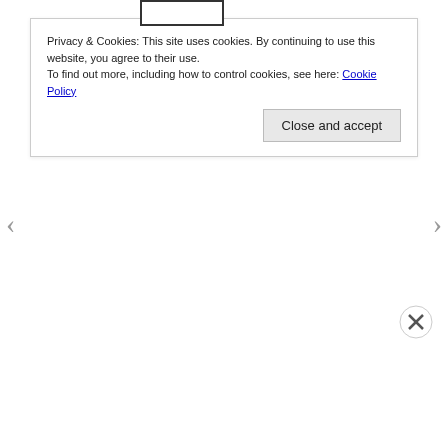[Figure (screenshot): Cookie consent banner overlay with text about privacy and cookies, a link to Cookie Policy, and a Close and accept button]
Deanna has a long time devotion to thrilling adventures, engaging action, psychological crime thrillers, epic fantasy sagas, and any and all kinds of romance. She has diverse interests in several different arenas, most of which you will find within the posts and pages of this site.
OKIE DREAMS, LLC is an Amazon Affiliate. By making qualifying purchases through one of our
Advertisements
[Figure (screenshot): WordPress.com advertisement banner: Simplified pricing for everything you need. WordPress.com logo.]